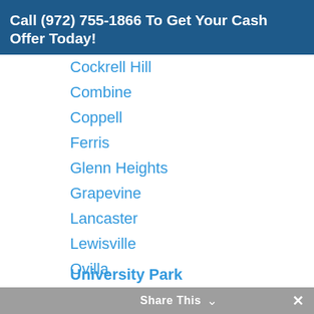Call (972) 755-1866 To Get Your Cash Offer Today!
Cockrell Hill
Combine
Coppell
Ferris
Glenn Heights
Grapevine
Lancaster
Lewisville
Ovilla
Sachse
Wilmer
Wylie
Highland Park
University Park
Share This